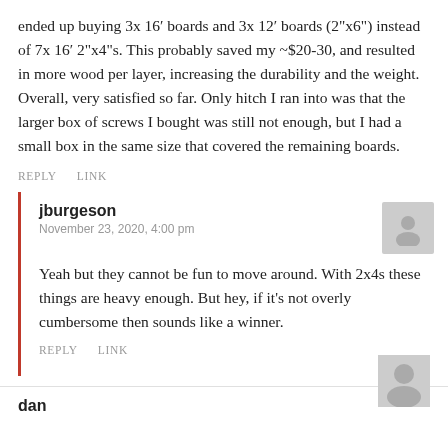ended up buying 3x 16′ boards and 3x 12′ boards (2"x6") instead of 7x 16′ 2"x4"s. This probably saved my ~$20-30, and resulted in more wood per layer, increasing the durability and the weight. Overall, very satisfied so far. Only hitch I ran into was that the larger box of screws I bought was still not enough, but I had a small box in the same size that covered the remaining boards.
REPLY   LINK
jburgeson
November 23, 2020, 4:00 pm
[Figure (illustration): Gray avatar placeholder icon showing a silhouette of a person]
Yeah but they cannot be fun to move around. With 2x4s these things are heavy enough. But hey, if it's not overly cumbersome then sounds like a winner.
REPLY   LINK
dan
[Figure (illustration): Gray avatar placeholder icon showing a silhouette of a person]